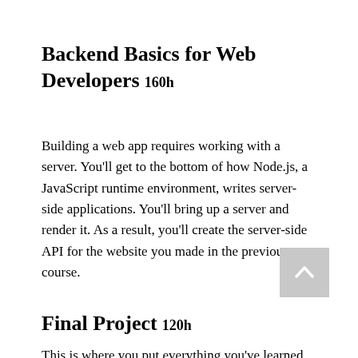Backend Basics for Web Developers 160h
Building a web app requires working with a server. You'll get to the bottom of how Node.js, a JavaScript runtime environment, writes server-side applications. You'll bring up a server and render it. As a result, you'll create the server-side API for the website you made in the previous course.
[Figure (other): Scroll-to-top button with an upward chevron arrow icon, grey background]
Final Project 120h
This is where you put everything you've learned throughout the